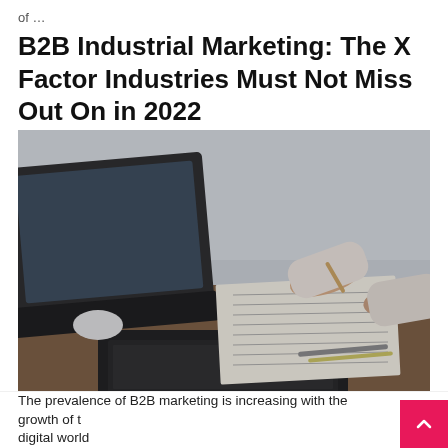of …
B2B Industrial Marketing: The X Factor Industries Must Not Miss Out On in 2022
[Figure (photo): Two people at a desk with laptops open, one person writing on paper with a pen while another person gestures nearby, business meeting setting]
The prevalence of B2B marketing is increasing with the growth of t… digital world